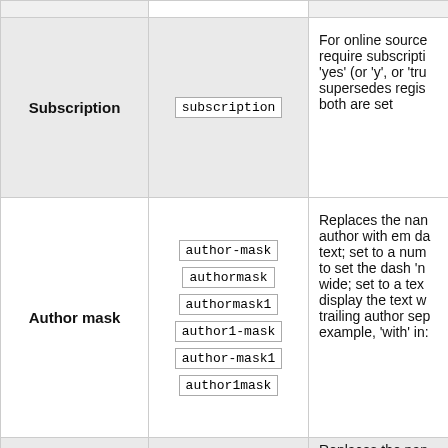| Field | Keys | Description |
| --- | --- | --- |
| Subscription | subscription | For online source require subscripti 'yes' (or 'y', or 'tru supersedes regis both are set |
| Author mask | author-mask
authormask
authormask1
author1-mask
author-mask1
author1mask | Replaces the nan author with em da text; set to a num to set the dash 'n wide; set to a tex display the text w trailing author sep example, 'with' in: |
|  |  | Replaces the nan |